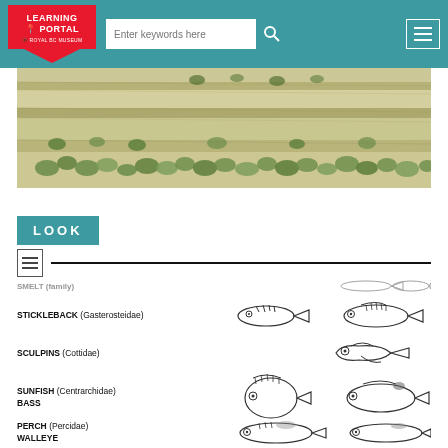[Figure (screenshot): Learning Portal navigation bar with Royal BC Museum logo, search input, and hamburger menu on teal background]
[Figure (photo): Rock face with layered sedimentary strata and green ivy plants growing across the surface]
LOOK
[Figure (illustration): List/document icon followed by a horizontal separator line]
SMELT (family) — fish illustrations (partially visible)
STICKLEBACK (Gasterosteidae) — fish illustrations
SCULPINS (Cottidae) — fish illustration
SUNFISH (Centrarchidae) BASS — fish illustrations
PERCH (Percidae) WALLEYE — fish illustrations